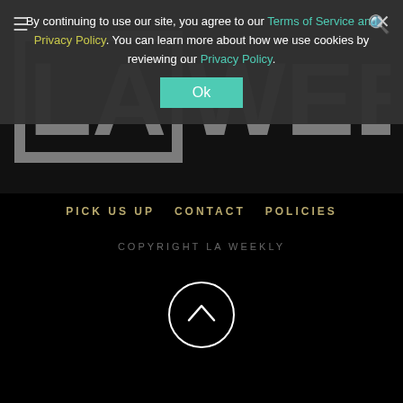[Figure (screenshot): LA Weekly website footer screenshot showing cookie consent banner overlay on top of the LA Weekly logo, with navigation links PICK US UP, CONTACT, POLICIES, COPYRIGHT LA WEEKLY text, and a back-to-top arrow circle button.]
By continuing to use our site, you agree to our Terms of Service and Privacy Policy. You can learn more about how we use cookies by reviewing our Privacy Policy.
Ok
LA WEEKLY
PICK US UP
CONTACT
POLICIES
COPYRIGHT LA WEEKLY